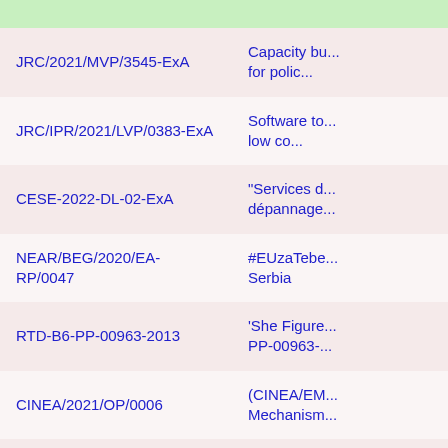| Reference | Title |
| --- | --- |
| JRC/2021/MVP/3545-ExA | Capacity bu... for polic... |
| JRC/IPR/2021/LVP/0383-ExA | Software to... low co... |
| CESE-2022-DL-02-ExA | "Services d... dépannage... |
| NEAR/BEG/2020/EA-RP/0047 | #EUzaTebe... Serbia |
| RTD-B6-PP-00963-2013 | 'She Figure... PP-00963-... |
| CINEA/2021/OP/0006 | (CINEA/EM... Mechanism... |
| 06A20/2015/M036. | 06A20/201... venkovních... |
| 06A40/2019/M002 | 06A40/201... údržbu bud... |